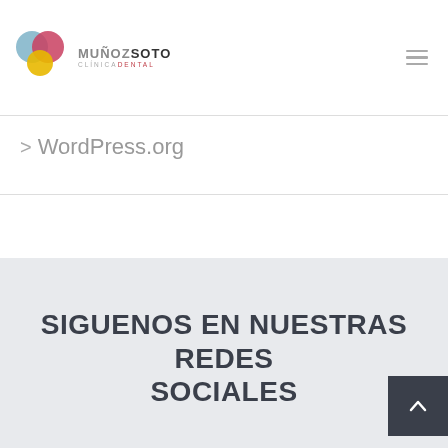[Figure (logo): Muñoz Soto Clínica Dental logo with overlapping colored circles (blue, pink/red, yellow) and text MuñozSoto Clínica Dental]
> WordPress.org
SIGUENOS EN NUESTRAS REDES SOCIALES